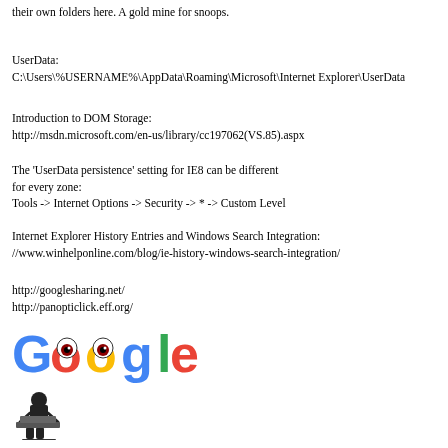their own folders here. A gold mine for snoops.
UserData:
C:\Users\%USERNAME%\AppData\Roaming\Microsoft\Internet Explorer\UserData
Introduction to DOM Storage:
http://msdn.microsoft.com/en-us/library/cc197062(VS.85).aspx
The 'UserData persistence' setting for IE8 can be different
for every zone:
Tools -> Internet Options -> Security -> * -> Custom Level
Internet Explorer History Entries and Windows Search Integration:
//www.winhelponline.com/blog/ie-history-windows-search-integration/
http://googlesharing.net/
http://panopticlick.eff.org/
[Figure (logo): Google logo with spy eyes and hacker silhouette illustration]